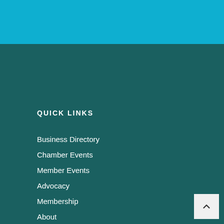QUICK LINKS
Business Directory
Chamber Events
Member Events
Advocacy
Membership
About
Business Services
Our Community
Chamber Logo